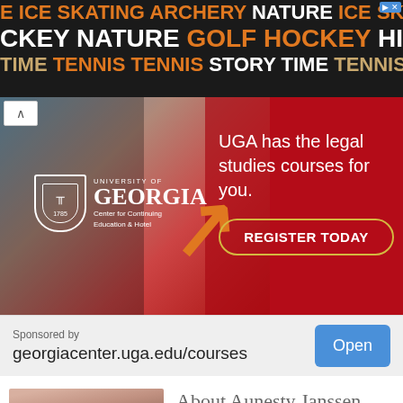[Figure (other): Banner ad strip with sports and activity keywords in orange, white, and tan text on dark background: ICE SKATING ARCHERY NATURE ICE SKATING / KEY NATURE GOLF HOCKEY HIKING / TIME TENNIS TENNIS STORY TIME TENNIS]
[Figure (other): University of Georgia Center for Continuing Education & Hotel advertisement on red background with person holding phone. Text: UGA has the legal studies courses for you. REGISTER TODAY button. Collapse arrow button top left.]
Sponsored by
georgiacenter.uga.edu/courses
Open
[Figure (photo): Photo of Aunesty Janssen, a smiling woman with dark hair and glasses, looking at camera]
About Aunesty Janssen
I am Aunesty Janssen, a photographer, blogger,